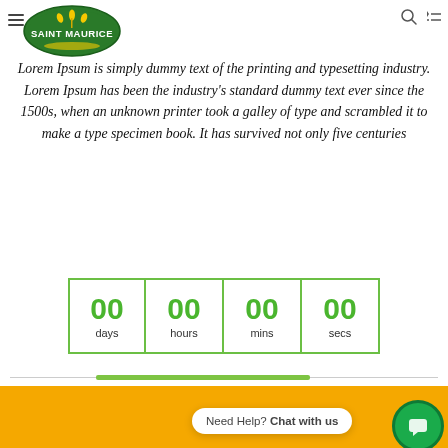[Figure (logo): Saint Maurice logo — green oval with brand name and wheat design]
Lorem Ipsum is simply dummy text of the printing and typesetting industry. Lorem Ipsum has been the industry's standard dummy text ever since the 1500s, when an unknown printer took a galley of type and scrambled it to make a type specimen book. It has survived not only five centuries
[Figure (infographic): Countdown timer showing 00 days, 00 hours, 00 mins, 00 secs in green numbers with green bordered boxes]
Need Help? Chat with us